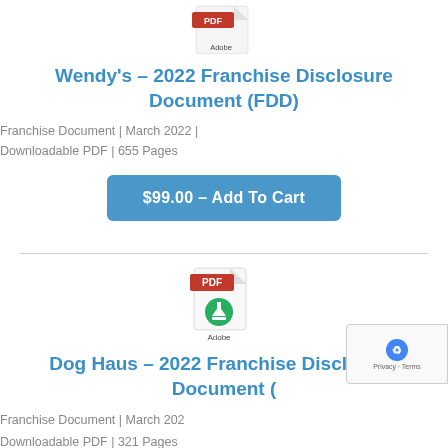[Figure (logo): Adobe PDF download icon (partial, top of page)]
Wendy's – 2022 Franchise Disclosure Document (FDD)
Franchise Document | March 2022 | Downloadable PDF | 655 Pages
$99.00 – Add To Cart
[Figure (logo): Adobe PDF download icon with green download arrow]
Dog Haus – 2022 Franchise Disclosure Document (
Franchise Document | March 202
Downloadable PDF | 321 Pages